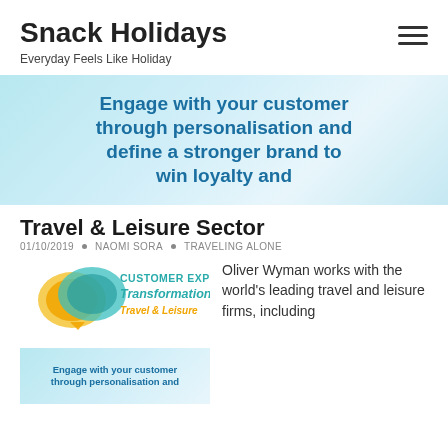Snack Holidays
Everyday Feels Like Holiday
[Figure (infographic): Hero banner with text: Engage with your customer through personalisation and define a stronger brand to win loyalty and [continues below]]
Travel & Leisure Sector
01/10/2019 • NAOMI SORA • TRAVELING ALONE
[Figure (logo): Customer Experience Transformation Travel & Leisure logo with speech bubble icons in yellow, green, teal]
[Figure (infographic): Mini hero banner repeating: Engage with your customer through personalisation and]
Oliver Wyman works with the world's leading travel and leisure firms, including